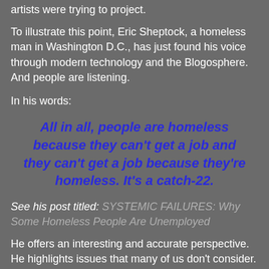artists were trying to project.
To illustrate this point, Eric Sheptock, a homeless man in Washington D.C., has just found his voice through modern technology and the Blogosphere. And people are listening.
In his words:
All in all, people are homeless because they can't get a job and they can't get a job because they're homeless. It's a catch-22.
See his post titled: SYSTEMIC FAILURES: Why Some Homeless People Are Unemployed
He offers an interesting and accurate perspective. He highlights issues that many of us don't consider. Like, what do you do with your stuff when you go for a job interview if you're homeless? And given the choice of eating, working, and having a place to sleep, which do you choose? He's blogging about something near and dear to him and subjects he knows intimately - Living in the streets and the plight of the homeless. He finds computer access in public libraries